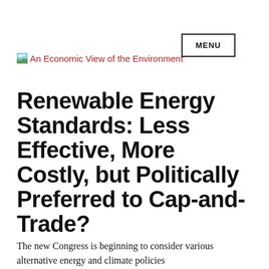MENU
[Figure (logo): An Economic View of the Environment logo with small landscape image icon]
Renewable Energy Standards: Less Effective, More Costly, but Politically Preferred to Cap-and-Trade?
The new Congress is beginning to consider various alternative energy and climate policies